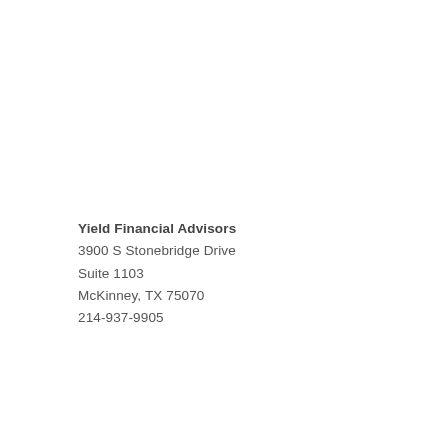Yield Financial Advisors
3900 S Stonebridge Drive
Suite 1103
McKinney, TX 75070
214-937-9905